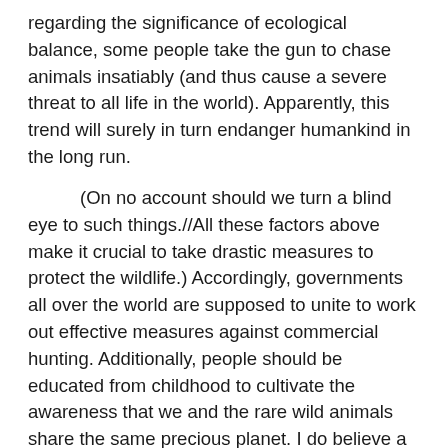regarding the significance of ecological balance, some people take the gun to chase animals insatiably (and thus cause a severe threat to all life in the world). Apparently, this trend will surely in turn endanger humankind in the long run.
(On no account should we turn a blind eye to such things.//All these factors above make it crucial to take drastic measures to protect the wildlife.) Accordingly, governments all over the world are supposed to unite to work out effective measures against commercial hunting. Additionally, people should be educated from childhood to cultivate the awareness that we and the rare wild animals share the same precious planet. I do believe a harmonious relationship between the wildlife and human beings is awaiting us if we make every effort to promote wildlife protection both nationally and internationally.